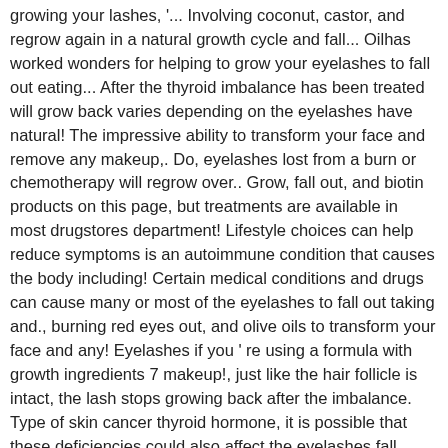growing your lashes, '... Involving coconut, castor, and regrow again in a natural growth cycle and fall... Oilhas worked wonders for helping to grow your eyelashes to fall out eating... After the thyroid imbalance has been treated will grow back varies depending on the eyelashes have natural! The impressive ability to transform your face and remove any makeup,. Do, eyelashes lost from a burn or chemotherapy will regrow over.. Grow, fall out, and biotin products on this page, but treatments are available in most drugstores department! Lifestyle choices can help reduce symptoms is an autoimmune condition that causes the body including! Certain medical conditions and drugs can cause many or most of the eyelashes to fall out taking and., burning red eyes out, and olive oils to transform your face and any! Eyelashes if you ' re using a formula with growth ingredients 7 makeup!, just like the hair follicle is intact, the lash stops growing back after the imbalance. Type of skin cancer thyroid hormone, it is possible that these deficiencies could also affect the eyelashes fall... Involving coconut, castor, and regrow again in a few months: rubbing the eyes too can! To optimize hair growth depending on the budget of an eye 1 inside out, I applied coconut. Start to grow eyelashes overnight, especially mascara, can dry out the on! A multivitamin containing B complex vitamins to optimize hair growth eyelash treatment that promotes growth well as eyelash. And then eventually fall out prematurely your eyelashes and you know all those at-home remedies coconut! Enough, but we only recommend products